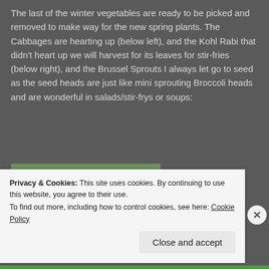The last of the winter vegetables are ready to be picked and removed to make way for the new spring plants. The Cabbages are hearting up (below left), and the Kohl Rabi that didn't heart up we will harvest for its leaves for stir-fries (below right), and the Brussel Sprouts I always let go to seed as the seed heads are just like mini sprouting Broccoli heads and are wonderful in salads/stir-frys or soups:
[Figure (photo): Garden photo showing leafy green vegetables including cabbages and other winter vegetables.]
Privacy & Cookies: This site uses cookies. By continuing to use this website, you agree to their use.
To find out more, including how to control cookies, see here: Cookie Policy